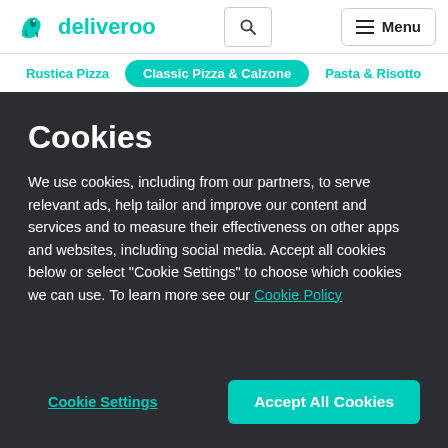[Figure (logo): Deliveroo logo with teal kangaroo icon and 'deliveroo' wordmark]
Rustica Pizza | Classic Pizza & Calzone | Pasta & Risotto
Cookies
We use cookies, including from our partners, to serve relevant ads, help tailor and improve our content and services and to measure their effectiveness on other apps and websites, including social media. Accept all cookies below or select “Cookie Settings” to choose which cookies we can use. To learn more see our Cookie Policy
Cookie Settings
Accept All Cookies